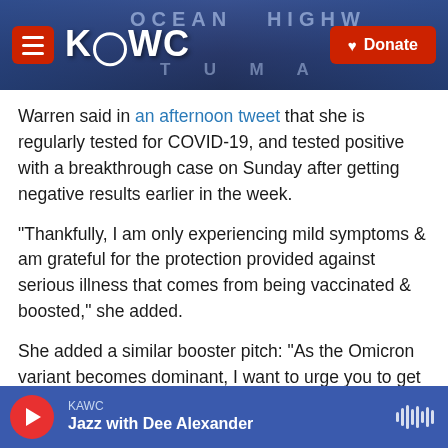[Figure (screenshot): KAWC radio station header banner with logo, hamburger menu button, and red Donate button. Background shows a stadium/arena structure photo.]
Warren said in an afternoon tweet that she is regularly tested for COVID-19, and tested positive with a breakthrough case on Sunday after getting negative results earlier in the week.
"Thankfully, I am only experiencing mild symptoms & am grateful for the protection provided against serious illness that comes from being vaccinated & boosted," she added.
She added a similar booster pitch: "As the Omicron variant becomes dominant, I want to urge you to get vaccinated or get your booster shot as soon as
KAWC · Jazz with Dee Alexander